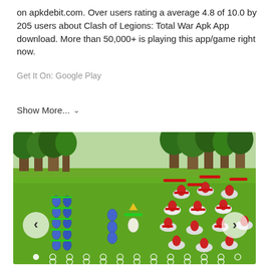on apkdebit.com. Over users rating a average 4.8 of 10.0 by 205 users about Clash of Legions: Total War Apk App download. More than 50,000+ is playing this app/game right now.
Get It On: Google Play
Show More... ∨
[Figure (screenshot): Screenshot of Clash of Legions: Total War game showing a battle scene on a green grassy field with trees in the background. Blue armored archer units on the left face red cavalry units on the right. Navigation dots at the bottom and left/right arrow buttons on each side.]